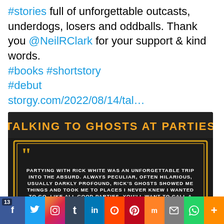#stories full of unforgettable outcasts, underdogs, losers and oddballs. Thank you @NeilRClark for your support & kind words. #books #shortstory #debut storgy.com/2022/08/14/tal…
[Figure (screenshot): Promotional image for 'Talking to Ghosts at Parties' with a quote on dark background with orange border]
5 likes
STORGY Retweeted
Jason De…